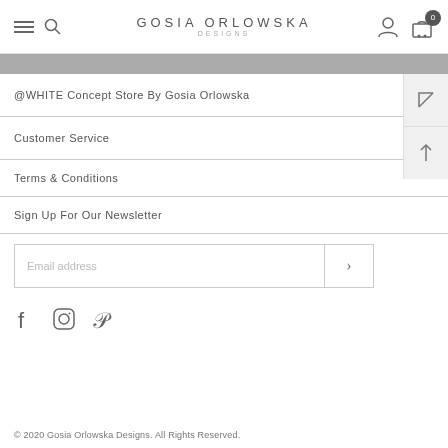GOSIA ORLOWSKA DESIGNS — navigation header with hamburger menu, search, user icon, cart (0)
@WHITE Concept Store By Gosia Orlowska
Customer Service
Terms & Conditions
Sign Up For Our Newsletter
Email address
[Figure (other): Social media icons: Facebook, Instagram, Pinterest]
© 2020 Gosia Orlowska Designs. All Rights Reserved.